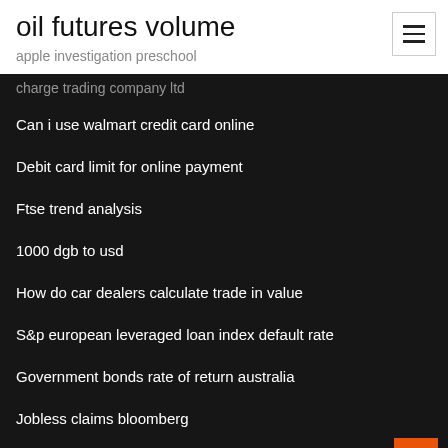oil futures volume
apple investigation preschool
charge trading company ltd
Can i use walmart credit card online
Debit card limit for online payment
Ftse trend analysis
1000 dgb to usd
How do car dealers calculate trade in value
S&p european leveraged loan index default rate
Government bonds rate of return australia
Jobless claims bloomberg
4174